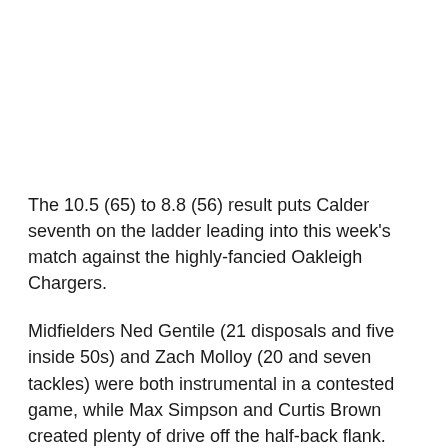The 10.5 (65) to 8.8 (56) result puts Calder seventh on the ladder leading into this week's match against the highly-fancied Oakleigh Chargers.
Midfielders Ned Gentile (21 disposals and five inside 50s) and Zach Molloy (20 and seven tackles) were both instrumental in a contested game, while Max Simpson and Curtis Brown created plenty of drive off the half-back flank.
Football Operations Manager Matthew Burton said many players stood up in the absence of Vic Metro trio Brodie